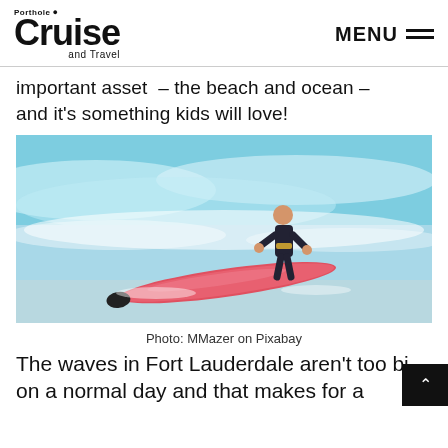Porthole Cruise and Travel — MENU
important asset – the beach and ocean – and it's something kids will love!
[Figure (photo): A young child in a black wetsuit surfing on a red surfboard on ocean waves in Fort Lauderdale]
Photo: MMazer on Pixabay
The waves in Fort Lauderdale aren't too big on a normal day and that makes for a